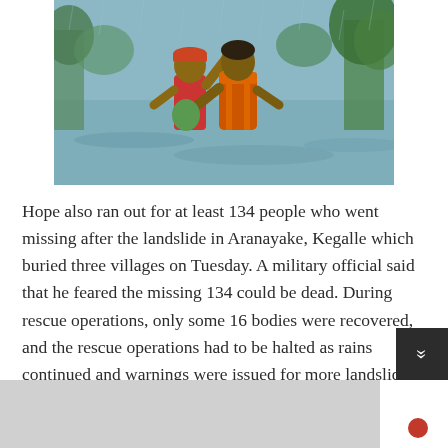[Figure (photo): Two men wading through floodwaters. One man in a red shirt points upward while another man in an orange life vest carries a green bag. Flooded landscape with trees in the background.]
Hope also ran out for at least 134 people who went missing after the landslide in Aranayake, Kegalle which buried three villages on Tuesday. A military official said that he feared the missing 134 could be dead. During rescue operations, only some 16 bodies were recovered, and the rescue operations had to be halted as rains continued and warnings were issued for more landslides.